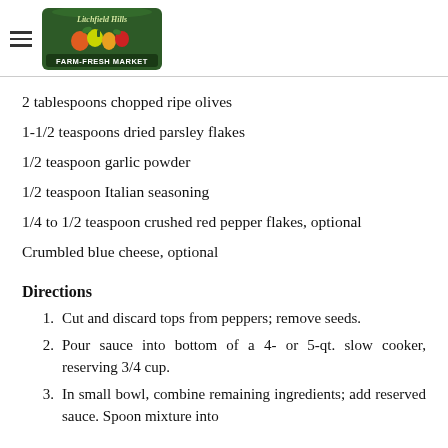Litchfield Hills Farm-Fresh Market
2 tablespoons chopped ripe olives
1-1/2 teaspoons dried parsley flakes
1/2 teaspoon garlic powder
1/2 teaspoon Italian seasoning
1/4 to 1/2 teaspoon crushed red pepper flakes, optional
Crumbled blue cheese, optional
Directions
1. Cut and discard tops from peppers; remove seeds.
2. Pour sauce into bottom of a 4- or 5-qt. slow cooker, reserving 3/4 cup.
3. In small bowl, combine remaining ingredients; add reserved sauce. Spoon mixture into